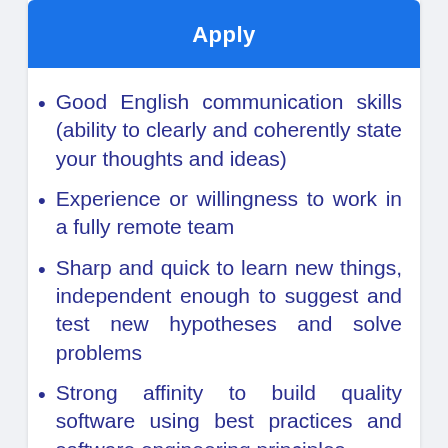Apply
Good English communication skills (ability to clearly and coherently state your thoughts and ideas)
Experience or willingness to work in a fully remote team
Sharp and quick to learn new things, independent enough to suggest and test new hypotheses and solve problems
Strong affinity to build quality software using best practices and software engineering principles
Interest and experience working in the whole software development…